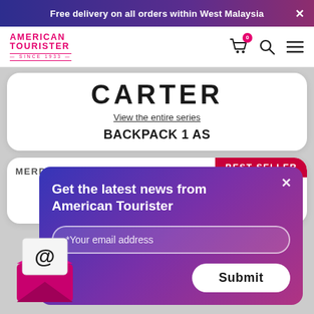Free delivery on all orders within West Malaysia
[Figure (logo): American Tourister logo with pink/magenta text and 'SINCE 1933' tagline]
CARTER
View the entire series
BACKPACK 1 AS
MERDEKA DEALS
BEST SELLER
Get the latest news from American Tourister
*Your email address
Submit